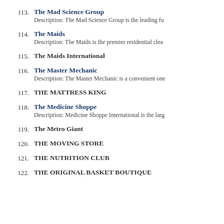113. The Mad Science Group — Description: The Mad Science Group is the leading fu...
114. The Maids — Description: The Maids is the premier residential clea...
115. The Maids International
116. The Master Mechanic — Description: The Master Mechanic is a convenient one...
117. THE MATTRESS KING
118. The Medicine Shoppe — Description: Medicine Shoppe International is the larg...
119. The Metro Giant
120. THE MOVING STORE
121. THE NUTRITION CLUB
122. THE ORIGINAL BASKET BOUTIQUE